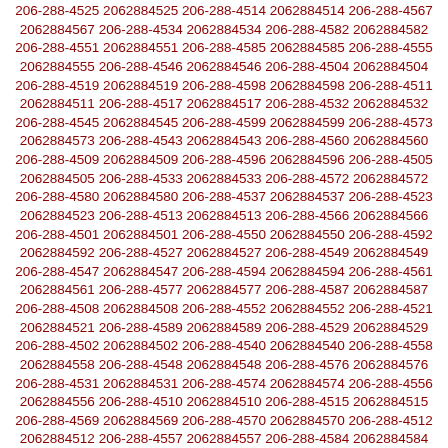206-288-4525 2062884525 206-288-4514 2062884514 206-288-4567 206-288-4534 2062884534 206-288-4582 2062884582 206-288-4551 2062884551 206-288-4585 2062884585 206-288-4555 2062884555 206-288-4546 2062884546 206-288-4504 2062884504 206-288-4519 2062884519 206-288-4598 2062884598 206-288-4511 2062884511 206-288-4517 2062884517 206-288-4532 2062884532 206-288-4545 2062884545 206-288-4599 2062884599 206-288-4573 2062884573 206-288-4543 2062884543 206-288-4560 2062884560 206-288-4509 2062884509 206-288-4596 2062884596 206-288-4505 2062884505 206-288-4533 2062884533 206-288-4572 2062884572 206-288-4580 2062884580 206-288-4537 2062884537 206-288-4523 2062884523 206-288-4513 2062884513 206-288-4566 2062884566 206-288-4501 2062884501 206-288-4550 2062884550 206-288-4592 2062884592 206-288-4527 2062884527 206-288-4549 2062884549 206-288-4547 2062884547 206-288-4594 2062884594 206-288-4561 2062884561 206-288-4577 2062884577 206-288-4587 2062884587 206-288-4508 2062884508 206-288-4552 2062884552 206-288-4521 2062884521 206-288-4589 2062884589 206-288-4529 2062884529 206-288-4502 2062884502 206-288-4540 2062884540 206-288-4558 2062884558 206-288-4548 2062884548 206-288-4576 2062884576 206-288-4531 2062884531 206-288-4574 2062884574 206-288-4556 2062884556 206-288-4510 2062884510 206-288-4515 2062884515 206-288-4569 2062884569 206-288-4570 2062884570 206-288-4512 2062884512 206-288-4557 2062884557 206-288-4584 2062884584 206-288-4583 2062884583 206-288-4595 2062884595 206-288-4553 2062884553 206-288-4516 2062884516 206-288-4575 2062884575